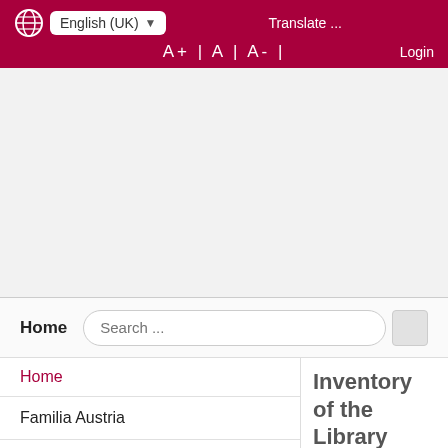[Figure (screenshot): Website header with globe icon, English (UK) language selector dropdown, Translate link, font size controls (A+ A A-), and Login link on dark red background]
[Figure (other): White banner/advertisement area]
[Figure (screenshot): Navigation bar with Home link and Search input field]
Home
Familia Austria
Membership
Contacts
News
Dates
Inventory of the Library
Inventory list of the ibrary of Familia Austria in Ortliebgasse 3a in